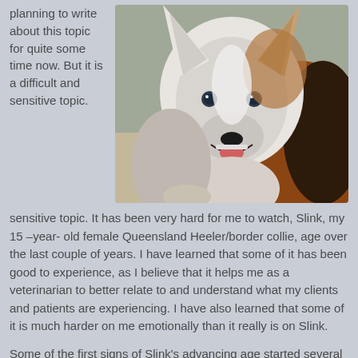planning to write about this topic for quite some time now. But it is a difficult and sensitive topic.
[Figure (photo): Close-up photo of a dog, appearing to be a Queensland Heeler/border collie mix, with white and brown/tan fur, looking at the camera with mouth open, outdoors on what appears to be a sandy surface.]
It has been very hard for me to watch, Slink, my 15 –year- old female Queensland Heeler/border collie, age over the last couple of years. I have learned that some of it has been good to experience, as I believe that it helps me as a veterinarian to better relate to and understand what my clients and patients are experiencing. I have also learned that some of it is much harder on me emotionally than it really is on Slink.
Some of the first signs of Slink's advancing age started several years ago, and were quite subtle. She started to